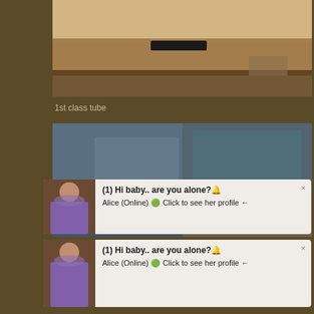[Figure (photo): Blurred/obscured adult content thumbnail at top of page]
1st class tube
[Figure (photo): Blurred/obscured adult content thumbnail in middle of page]
[Figure (screenshot): Pop-up notification: (1) Hi baby.. are you alone? Alice (Online) Click to see her profile, with female figure thumbnail on left]
[Figure (screenshot): Second pop-up notification: (1) Hi baby.. are you alone? Alice (Online) Click to see her profile, with female figure thumbnail on left]